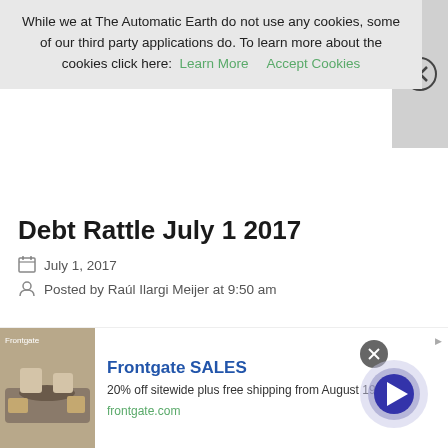While we at The Automatic Earth do not use any cookies, some of our third party applications do. To learn more about the cookies click here: Learn More   Accept Cookies
Debt Rattle July 1 2017
July 1, 2017
Posted by Raúl Ilargi Meijer at 9:50 am
[Figure (screenshot): Advertisement banner for Frontgate SALES showing outdoor furniture with fire pit. Text: Frontgate SALES, 20% off sitewide plus free shipping from August 19-22, frontgate.com]